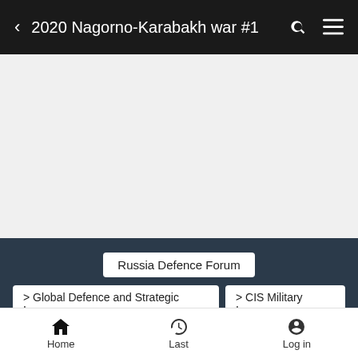2020 Nagorno-Karabakh war #1
[Figure (other): Gray advertisement placeholder area]
Russia Defence Forum
> Global Defence and Strategic Issues
> CIS Military Issues
2020 Nagorno-Karabakh war #1
[Figure (other): Row of user avatar circles]
Home  Last  Log in